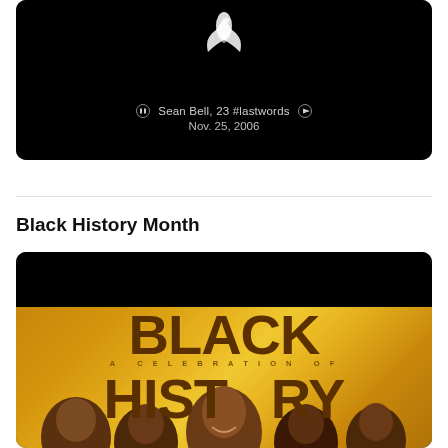[Figure (screenshot): Video card with black background showing a dove silhouette and text 'Sean Bell, 23 #lastwords Nov. 25, 2006']
Black History Month
[Figure (screenshot): Black History Month promotional image with gold background showing 'BLACK HISTORY - A CELEBRATION OF' text and faces of notable Black figures including Barack Obama]